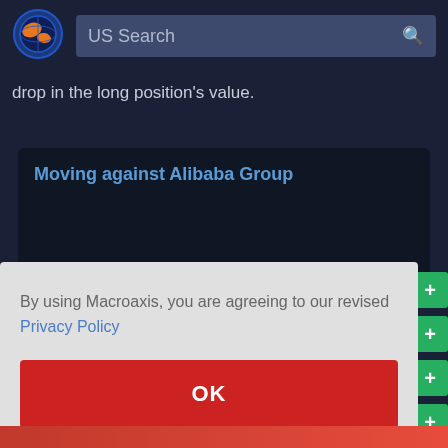[Figure (logo): Macroaxis logo: circular icon with blue ring and orange/dark globe design]
US Search
drop in the long position's value.
Moving against Alibaba Group
By using Macroaxis, you are agreeing to our revised Privacy Policy
OK